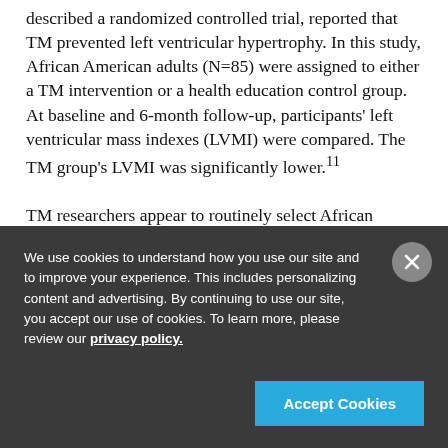described a randomized controlled trial, reported that TM prevented left ventricular hypertrophy. In this study, African American adults (N=85) were assigned to either a TM intervention or a health education control group. At baseline and 6-month follow-up, participants' left ventricular mass indexes (LVMI) were compared. The TM group's LVMI was significantly lower.11
TM researchers appear to routinely select African Americans as study participants for their
We use cookies to understand how you use our site and to improve your experience. This includes personalizing content and advertising. By continuing to use our site, you accept our use of cookies. To learn more, please review our privacy policy.